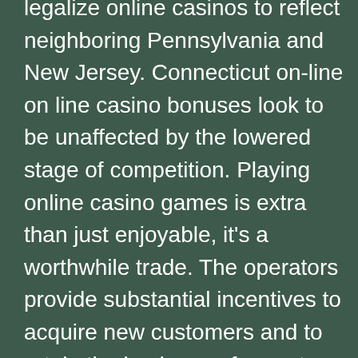legalize online casinos to reflect neighboring Pennsylvania and New Jersey. Connecticut on-line on line casino bonuses look to be unaffected by the lowered stage of competition. Playing online casino games is extra than just enjoyable, it's a worthwhile trade. The operators provide substantial incentives to acquire new customers and to retain the business of recent gamers. This authorized union of retail and online casinos ensures that players can enjoy safe authorized on-line gambling. Playing at a state-regulated online casino offers the identical stage of safety as taking part in at a authorized retail